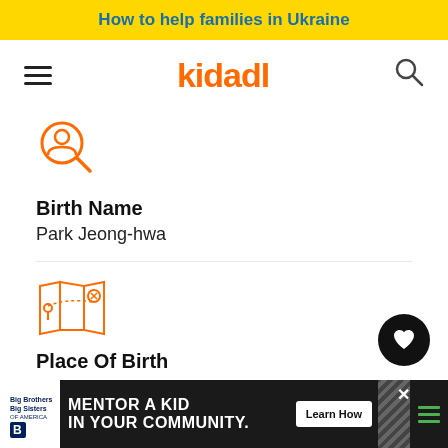How to help families in Ukraine
[Figure (logo): Kidadl logo with hamburger menu and search icon]
[Figure (illustration): Orange person-search icon]
Birth Name
Park Jeong-hwa
[Figure (illustration): Orange map/location icon]
Place Of Birth
Anyang, South Korea
[Figure (advertisement): Big Brothers Big Sisters - Mentor a Kid in Your Community advertisement banner]